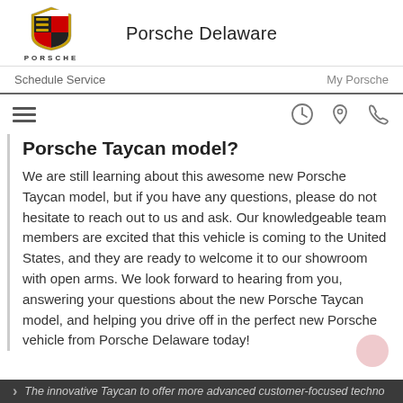[Figure (logo): Porsche crest logo with PORSCHE wordmark below]
Porsche Delaware
Schedule Service    My Porsche
Porsche Taycan model?
We are still learning about this awesome new Porsche Taycan model, but if you have any questions, please do not hesitate to reach out to us and ask. Our knowledgeable team members are excited that this vehicle is coming to the United States, and they are ready to welcome it to our showroom with open arms. We look forward to hearing from you, answering your questions about the new Porsche Taycan model, and helping you drive off in the perfect new Porsche vehicle from Porsche Delaware today!
The innovative Taycan to offer more advanced customer-focused techno...